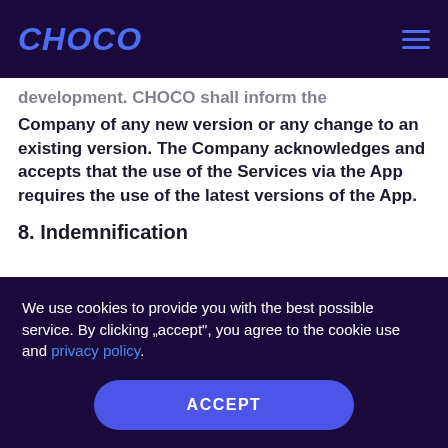CHOCO
development. CHOCO shall inform the Company of any new version or any change to an existing version. The Company acknowledges and accepts that the use of the Services via the App requires the use of the latest versions of the App.
8. Indemnification
We use cookies to provide you with the best possible service. By clicking „accept", you agree to the cookie use and privacy policy.
ACCEPT